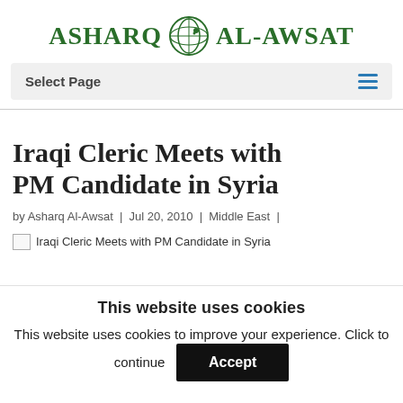ASHARQ AL-AWSAT
Select Page
Iraqi Cleric Meets with PM Candidate in Syria
by Asharq Al-Awsat | Jul 20, 2010 | Middle East |
[Figure (photo): Broken image placeholder with alt text: Iraqi Cleric Meets with PM Candidate in Syria]
This website uses cookies
This website uses cookies to improve your experience. Click to continue
Accept